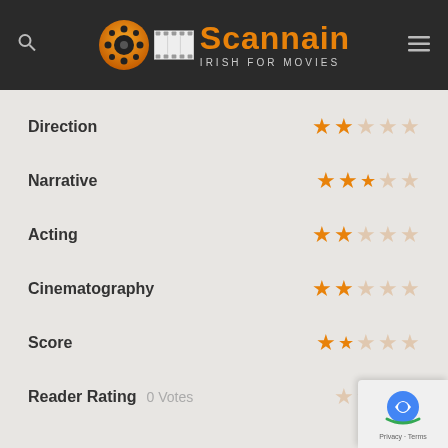[Figure (logo): Scannain - Irish For Movies logo with film reel and film strip, orange and white text on dark background]
| Category | Rating |
| --- | --- |
| Direction | 2/5 stars |
| Narrative | 2.5/5 stars |
| Acting | 2/5 stars |
| Cinematography | 2/5 stars |
| Score | 2/5 stars |
| Reader Rating | 0 Votes |